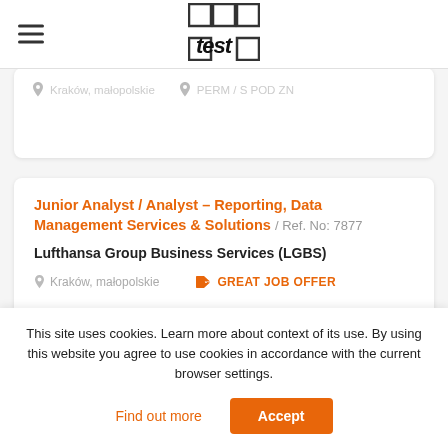[Figure (logo): Test logo with grid squares and handwritten 'test' text]
Kraków, małopolskie  PERM / S POD ZN
Junior Analyst / Analyst – Reporting, Data Management Services & Solutions / Ref. No: 7877
Lufthansa Group Business Services (LGBS)
Kraków, małopolskie   GREAT JOB OFFER
This site uses cookies. Learn more about context of its use. By using this website you agree to use cookies in accordance with the current browser settings.
Find out more  Accept